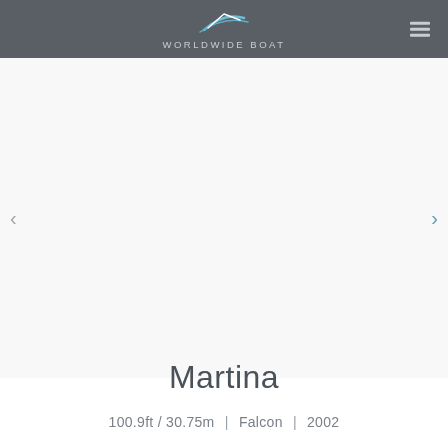WORLDWIDE BOAT
[Figure (other): Blank white image area with left and right navigation arrows for a boat photo carousel]
Martina
100.9ft / 30.75m | Falcon | 2002